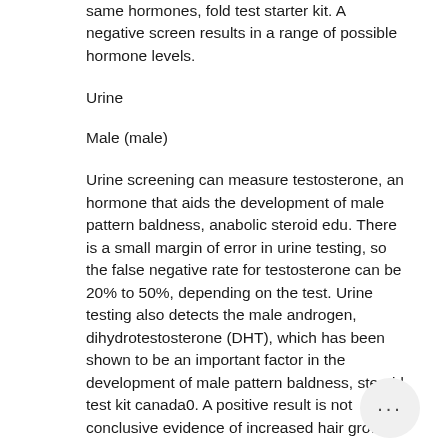same hormones, fold test starter kit. A negative screen results in a range of possible hormone levels.
Urine
Male (male)
Urine screening can measure testosterone, an hormone that aids the development of male pattern baldness, anabolic steroid edu. There is a small margin of error in urine testing, so the false negative rate for testosterone can be 20% to 50%, depending on the test. Urine testing also detects the male androgen, dihydrotestosterone (DHT), which has been shown to be an important factor in the development of male pattern baldness, steroid test kit canada0. A positive result is not conclusive evidence of increased hair growth.